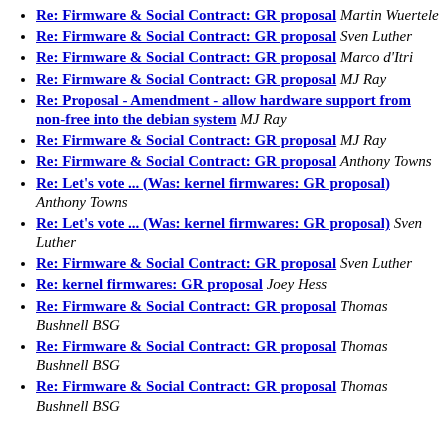Re: Firmware & Social Contract: GR proposal Martin Wuertele
Re: Firmware & Social Contract: GR proposal Sven Luther
Re: Firmware & Social Contract: GR proposal Marco d'Itri
Re: Firmware & Social Contract: GR proposal MJ Ray
Re: Proposal - Amendment - allow hardware support from non-free into the debian system MJ Ray
Re: Firmware & Social Contract: GR proposal MJ Ray
Re: Firmware & Social Contract: GR proposal Anthony Towns
Re: Let's vote ... (Was: kernel firmwares: GR proposal) Anthony Towns
Re: Let's vote ... (Was: kernel firmwares: GR proposal) Sven Luther
Re: Firmware & Social Contract: GR proposal Sven Luther
Re: kernel firmwares: GR proposal Joey Hess
Re: Firmware & Social Contract: GR proposal Thomas Bushnell BSG
Re: Firmware & Social Contract: GR proposal Thomas Bushnell BSG
Re: Firmware & Social Contract: GR proposal Thomas Bushnell BSG